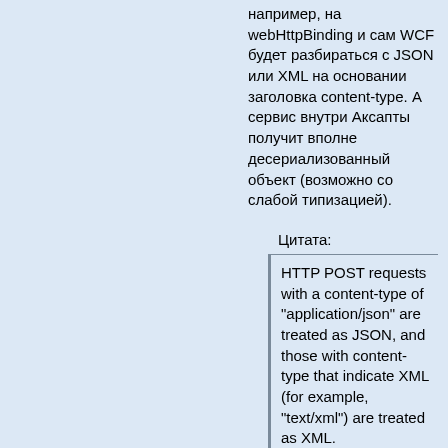например, на webHttpBinding и сам WCF будет разбираться с JSON или XML на основании заголовка content-type. А сервис внутри Аксапты получит вполне десериализованный объект (возможно со слабой типизацией).
Цитата:
HTTP POST requests with a content-type of "application/json" are treated as JSON, and those with content-type that indicate XML (for example, "text/xml") are treated as XML.